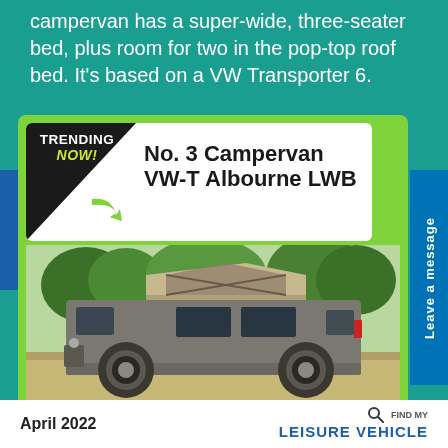campervan has a super-wide, three-seater bed, plus room for two in the pop-top roof bed. It's based on a VW Transporter 6.
[Figure (photo): Promotional card showing 'Trending Now!' banner with 'No. 3 Campervan VW-T Albourne LWB' title, and a photo of a grey VW Transporter 6 campervan with pop-top roof extended, parked in a green outdoor setting.]
April 2022   FIND MY LEISURE VEHICLE